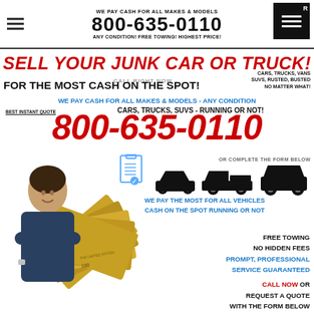WE PAY CASH FOR ALL MAKES & MODELS
800-635-0110
ANY CONDITION! FREE TOWING! HIGHEST PRICE!
SELL YOUR JUNK CAR OR TRUCK!
CALL RIGHT NOW
CARS, TRUCKS, VANS SUVs, RUSTED, BUSTED NO MATTER WHAT!
FOR THE MOST CASH ON THE SPOT!
WE PAY CASH FOR ALL MAKES & MODELS - ANY CONDITION
BEST INSTANT QUOTE
CARS, TRUCKS, SUVs - RUNNING OR NOT!
800-635-0110
OR COMPLETE THE FORM BELOW
[Figure (infographic): Icons of a sedan car, pickup truck, and SUV in black silhouette with a clipboard/checklist icon]
WE PAY THE MOST FOR ALL VEHICLES
CASH ON THE SPOT RUNNING OR NOT
[Figure (photo): Man with arms crossed smiling, standing in front of fanned-out US $100 dollar bills]
FREE TOWING
NO HIDDEN FEES
PROMPT, PROFESSIONAL
SERVICE GUARANTEED
CALL NOW OR
REQUEST A QUOTE
WITH THE FORM BELOW